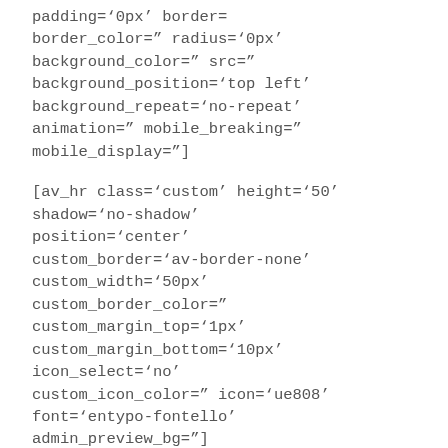padding='0px' border=
border_color='' radius='0px'
background_color='' src=''
background_position='top left'
background_repeat='no-repeat'
animation='' mobile_breaking=''
mobile_display='']
[av_hr class='custom' height='50'
shadow='no-shadow'
position='center'
custom_border='av-border-none'
custom_width='50px'
custom_border_color=''
custom_margin_top='1px'
custom_margin_bottom='10px'
icon_select='no'
custom_icon_color='' icon='ue808'
font='entypo-fontello'
admin_preview_bg='']
[av__textblock size=''
font_color='custom' color='#013040'
av-medium-font-size='' av-small-
font-size='' av-mini-font-size='